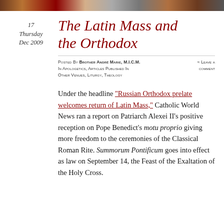[decorative header image]
17
Thursday
Dec 2009
The Latin Mass and the Orthodox
Posted by Brother André Marie, M.I.C.M. in Apologetics, Articles Published in Other Venues, Liturgy, Theology
≈ Leave a comment
Under the headline “Russian Orthodox prelate welcomes return of Latin Mass,” Catholic World News ran a report on Patriarch Alexei II’s positive reception on Pope Benedict’s motu proprio giving more freedom to the ceremonies of the Classical Roman Rite. Summorum Pontificum goes into effect as law on September 14, the Feast of the Exaltation of the Holy Cross.